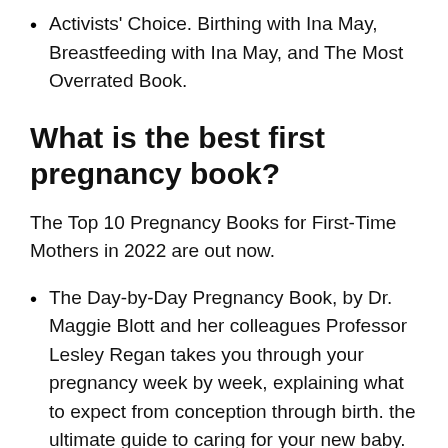Activists' Choice. Birthing with Ina May, Breastfeeding with Ina May, and The Most Overrated Book.
What is the best first pregnancy book?
The Top 10 Pregnancy Books for First-Time Mothers in 2022 are out now.
The Day-by-Day Pregnancy Book, by Dr. Maggie Blott and her colleagues Professor Lesley Regan takes you through your pregnancy week by week, explaining what to expect from conception through birth. the ultimate guide to caring for your new baby. by Dr Caroline Fertleman and Simone